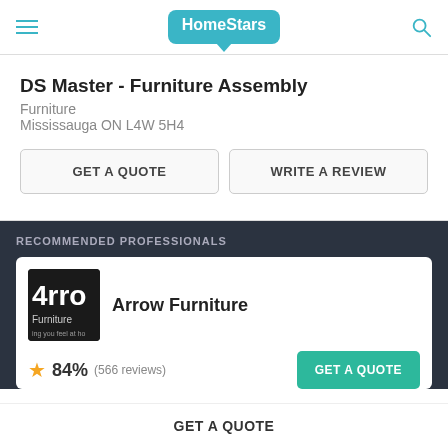HomeStars
DS Master - Furniture Assembly
Furniture
Mississauga ON L4W 5H4
GET A QUOTE
WRITE A REVIEW
RECOMMENDED PROFESSIONALS
Arrow Furniture
84% (566 reviews)
GET A QUOTE
GET A QUOTE